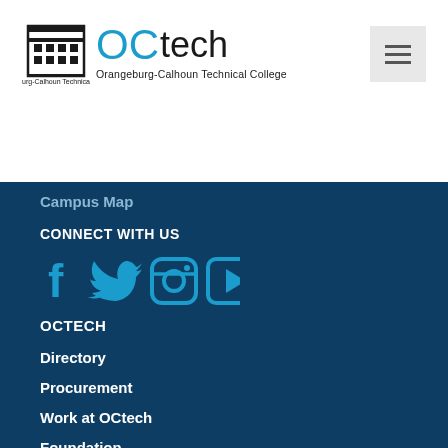[Figure (logo): OCtech Orangeburg-Calhoun Technical College logo with building icon on the left and OCtech text on the right]
Campus Map
CONNECT WITH US
[Figure (infographic): Social media icons row: Facebook, Twitter, Instagram, YouTube - all in cyan/teal color]
OCTECH
Directory
Procurement
Work at OCtech
Foundation
Faculty/Staff Access
RESOURCES
Student Success Center